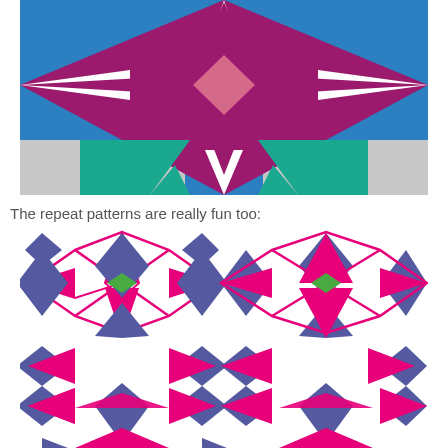[Figure (illustration): Geometric quilt-block style illustration with blue background, large magenta/purple star shape with lighter pink diamond in center, teal triangles and grey triangular shapes at bottom]
The repeat patterns are really fun too:
[Figure (illustration): Repeating tile pattern with purple/blue kite/diamond shapes, hot pink arrow/star outlines, and small green diamonds arranged in a symmetrical grid pattern on white background]